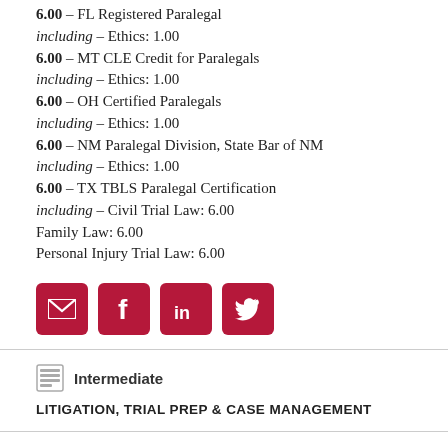6.00 – FL Registered Paralegal including – Ethics: 1.00
6.00 – MT CLE Credit for Paralegals including – Ethics: 1.00
6.00 – OH Certified Paralegals including – Ethics: 1.00
6.00 – NM Paralegal Division, State Bar of NM including – Ethics: 1.00
6.00 – TX TBLS Paralegal Certification including – Civil Trial Law: 6.00 Family Law: 6.00 Personal Injury Trial Law: 6.00
[Figure (infographic): Social media share icons: email (envelope), Facebook, LinkedIn, Twitter — white icons on dark red rounded square buttons]
Intermediate
LITIGATION, TRIAL PREP & CASE MANAGEMENT